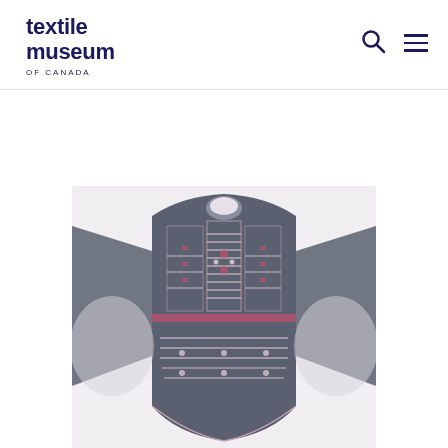textile museum OF CANADA
[Figure (photo): A dark navy/grey traditional embroidered garment (tunic/blouse) with pink and white geometric embroidery patterns on the chest and lower body panels, laid flat against a white background. The garment has wide bat-wing sleeves and a small round neckline.]